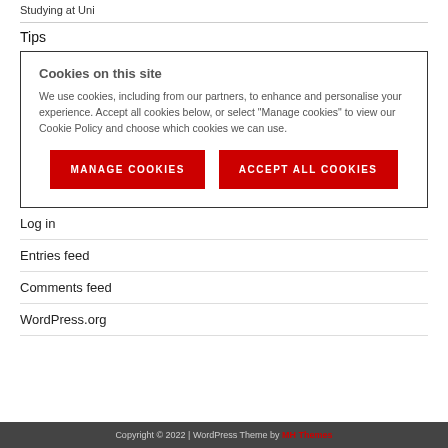Studying at Uni
Tips
Cookies on this site

We use cookies, including from our partners, to enhance and personalise your experience. Accept all cookies below, or select “Manage cookies” to view our Cookie Policy and choose which cookies we can use.
Log in
Entries feed
Comments feed
WordPress.org
Copyright © 2022 | WordPress Theme by MH Themes